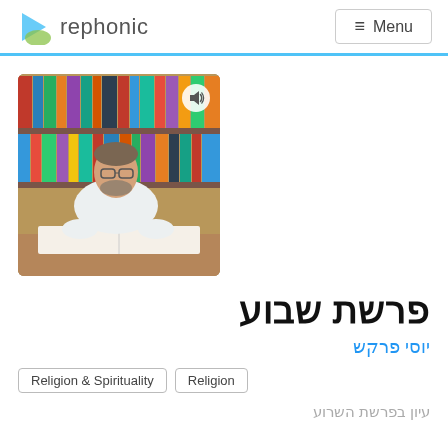rephonic  ≡ Menu
[Figure (photo): A man with glasses and a beard sitting at a desk reading from a large open book, with bookshelves filled with books in the background. A speaker icon appears in the top right of the image.]
פרשת שבוע
יוסי פרקש
Religion & Spirituality
Religion
עיון בפרשת השרוע